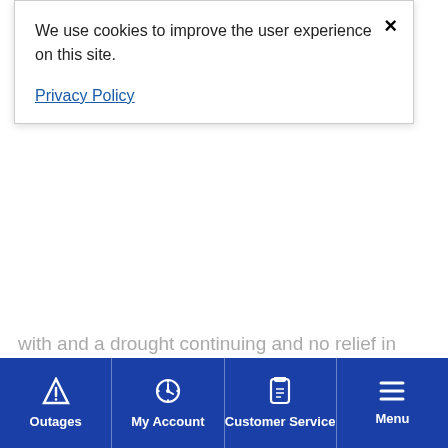We use cookies to improve the user experience on this site.
Privacy Policy
with and a drought continuing and no relief in sight, demand on the aquifer, not just in New Braunfels, but across the region, is putting the spring flow at risk. The Comal Springs flow is consistently dropping and is a habitat for endangered species and a precious natural resource that is important to the quality of life and economy of our community and beyond.  During periods of extreme drought, more than 75% of the water in the Guadalupe River in Victoria is made up of water from the Comal and San Marcos Springs.
Outages | My Account | Customer Service | Menu